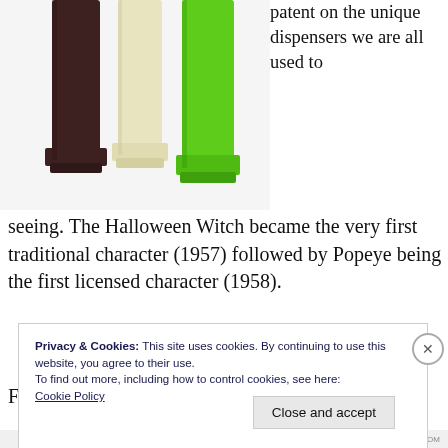[Figure (photo): Three PEZ dispensers (brown, cream/white, and bright green) shown side by side without character heads, cropped at the top of the image.]
patent on the unique dispensers we are all used to seeing. The Halloween Witch became the very first traditional character (1957) followed by Popeye being the first licensed character (1958).
From here the assortment of characters rapidly
Privacy & Cookies: This site uses cookies. By continuing to use this website, you agree to their use.
To find out more, including how to control cookies, see here:
Cookie Policy
Close and accept